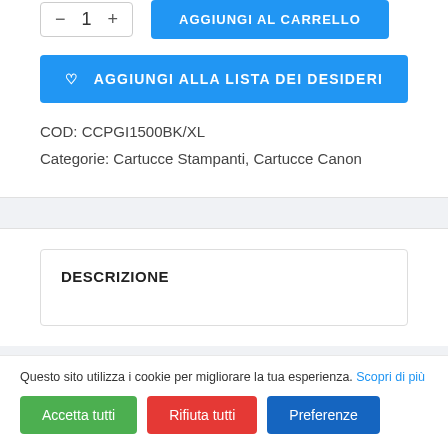— 1 +
AGGIUNGI AL CARRELLO
♡  AGGIUNGI ALLA LISTA DEI DESIDERI
COD: CCPGI1500BK/XL
Categorie: Cartucce Stampanti, Cartucce Canon
DESCRIZIONE
Questo sito utilizza i cookie per migliorare la tua esperienza. Scopri di più
Accetta tutti
Rifiuta tutti
Preferenze